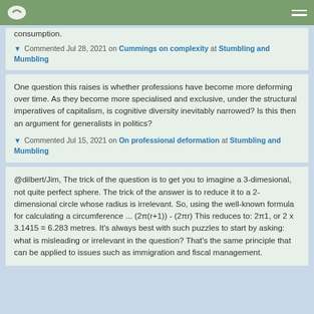consumption.
▼ Commented Jul 28, 2021 on Cummings on complexity at Stumbling and Mumbling
One question this raises is whether professions have become more deforming over time. As they become more specialised and exclusive, under the structural imperatives of capitalism, is cognitive diversity inevitably narrowed? Is this then an argument for generalists in politics?
▼ Commented Jul 15, 2021 on On professional deformation at Stumbling and Mumbling
@dilbert/Jim, The trick of the question is to get you to imagine a 3-dimesional, not quite perfect sphere. The trick of the answer is to reduce it to a 2-dimensional circle whose radius is irrelevant. So, using the well-known formula for calculating a circumference ... (2π(r+1)) - (2πr) This reduces to: 2π1, or 2 x 3.1415 = 6.283 metres. It's always best with such puzzles to start by asking: what is misleading or irrelevant in the question? That's the same principle that can be applied to issues such as immigration and fiscal management.